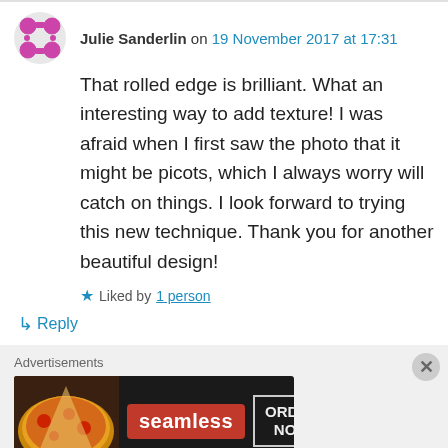Julie Sanderlin on 19 November 2017 at 17:31
That rolled edge is brilliant. What an interesting way to add texture! I was afraid when I first saw the photo that it might be picots, which I always worry will catch on things. I look forward to trying this new technique. Thank you for another beautiful design!
★ Liked by 1 person
↳ Reply
Advertisements